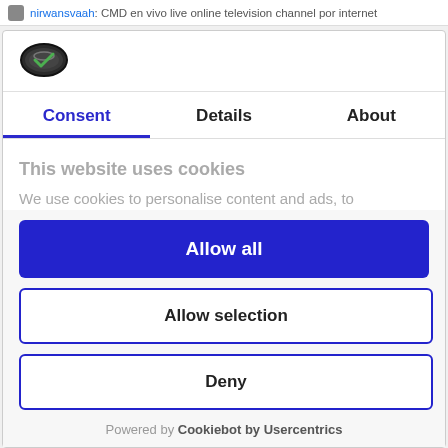nirwansvaah: CMD en vivo live online television channel por internet
[Figure (logo): Cookiebot cookie consent logo — dark oval cookie icon]
Consent | Details | About
This website uses cookies
We use cookies to personalise content and ads, to
Allow all
Allow selection
Deny
Powered by Cookiebot by Usercentrics